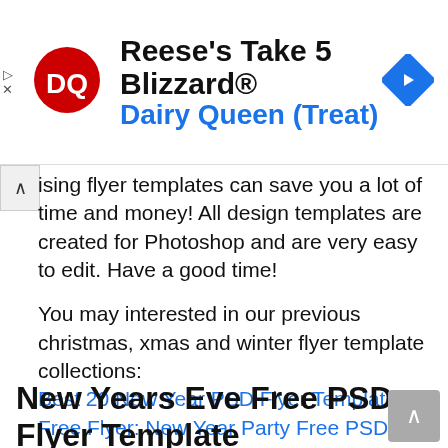[Figure (screenshot): Dairy Queen advertisement banner showing DQ logo, 'Reese's Take 5 Blizzard® Dairy Queen (Treat)' text, and a navigation arrow icon]
Ising flyer templates can save you a lot of time and money! All design templates are created for Photoshop and are very easy to edit. Have a good time!
You may interested in our previous christmas, xmas and winter flyer template collections:
Best 20 New Year PSD Flyer Templates
Free Flyer: New Year Party Free PSD Flyer Template
New Years Eve Free PSD Flyer Template